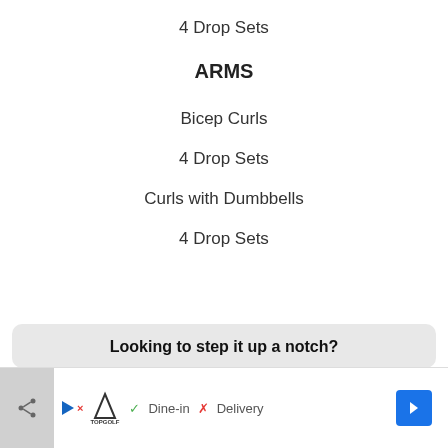4 Drop Sets
ARMS
Bicep Curls
4 Drop Sets
Curls with Dumbbells
4 Drop Sets
Looking to step it up a notch?
[Figure (other): Mobile ad banner showing TopGolf advertisement with Dine-in checkmark and Delivery X, plus navigation arrow button. Share button on left side.]